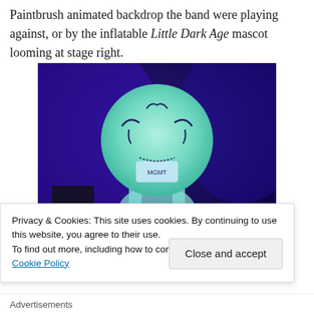Paintbrush animated backdrop the band were playing against, or by the inflatable Little Dark Age mascot looming at stage right.
[Figure (photo): Large inflatable mascot with a round face painted with clown-like markings, lit with blue/teal stage lighting at a concert. A performer stands behind it.]
Privacy & Cookies: This site uses cookies. By continuing to use this website, you agree to their use.
To find out more, including how to control cookies, see here: Cookie Policy
Advertisements